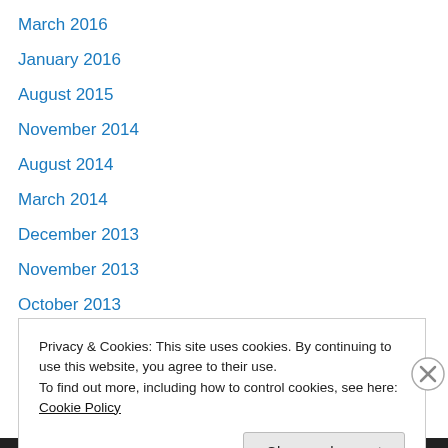March 2016
January 2016
August 2015
November 2014
August 2014
March 2014
December 2013
November 2013
October 2013
September 2013
April 2013
February 2013
January 2013
Privacy & Cookies: This site uses cookies. By continuing to use this website, you agree to their use.
To find out more, including how to control cookies, see here: Cookie Policy
Close and accept